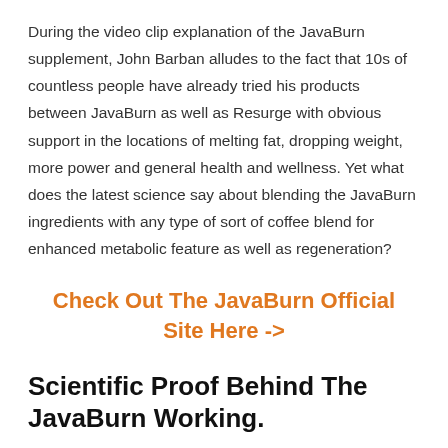During the video clip explanation of the JavaBurn supplement, John Barban alludes to the fact that 10s of countless people have already tried his products between JavaBurn as well as Resurge with obvious support in the locations of melting fat, dropping weight, more power and general health and wellness. Yet what does the latest science say about blending the JavaBurn ingredients with any type of sort of coffee blend for enhanced metabolic feature as well as regeneration?
Check Out The JavaBurn Official Site Here ->
Scientific Proof Behind The JavaBurn Working.
If you go to JavaBurn.com, you'll discover greater than 40 scientific recommendations as well as researches that advocate the benefits